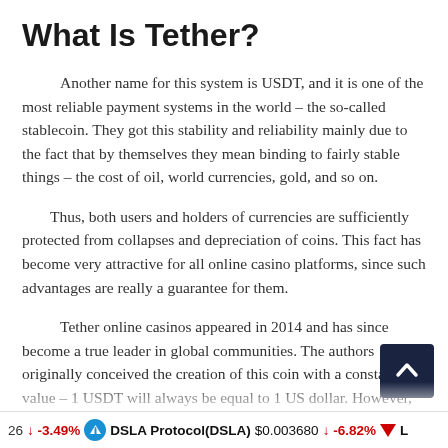What Is Tether?
Another name for this system is USDT, and it is one of the most reliable payment systems in the world – the so-called stablecoin. They got this stability and reliability mainly due to the fact that by themselves they mean binding to fairly stable things – the cost of oil, world currencies, gold, and so on.
Thus, both users and holders of currencies are sufficiently protected from collapses and depreciation of coins. This fact has become very attractive for all online casino platforms, since such advantages are really a guarantee for them.
Tether online casinos appeared in 2014 and has since become a true leader in global communities. The authors originally conceived the creation of this coin with a constant value – 1 USDT will always be equal to 1 US dollar. However, this stablecoin did not always confirm its stability, as the audience often had doubts about whether this currency…
26 ↓ -3.49%   DSLA Protocol(DSLA) $0.003680 ↓ -6.82%   L